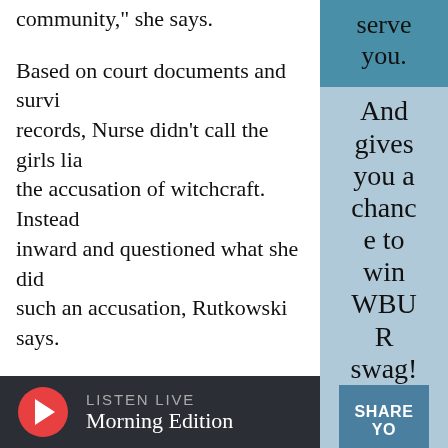community,” she says.
Based on court documents and survi… records, Nurse didn’t call the girls lia… the accusation of witchcraft. Instead… inward and questioned what she did… such an accusation, Rutkowski says.
“[Nurse] even offers to pray for the afl… to hope that maybe whatever is afflic… will pass,” Rutkowski says. “She was j… gracious about the whole thing and … accepting of what was about to happ…
serve you. And gives you a chance to win WBUR swag!
SHARE YO
LISTEN LIVE
Morning Edition